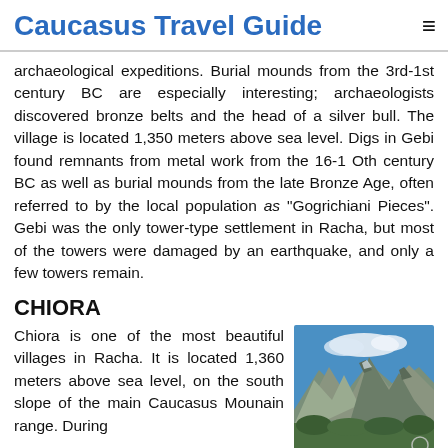Caucasus Travel Guide
archaeological expeditions. Burial mounds from the 3rd-1st century BC are especially interesting; archaeologists discovered bronze belts and the head of a silver bull. The village is located 1,350 meters above sea level. Digs in Gebi found remnants from metal work from the 16-1 Oth century BC as well as burial mounds from the late Bronze Age, often referred to by the local population as "Gogrichiani Pieces". Gebi was the only tower-type settlement in Racha, but most of the towers were damaged by an earthquake, and only a few towers remain.
CHIORA
Chiora is one of the most beautiful villages in Racha. It is located 1,360 meters above sea level, on the south slope of the main Caucasus Mounain range. During
[Figure (photo): Mountain landscape with rocky peaks, blue sky with clouds, and green valley below]